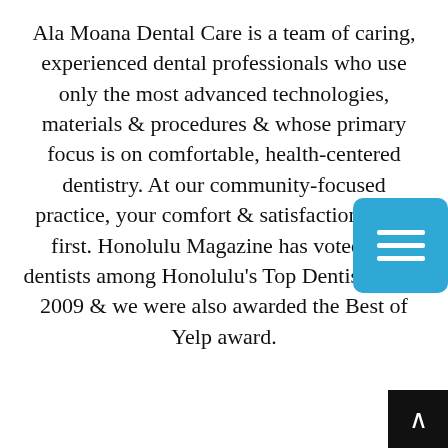Ala Moana Dental Care is a team of caring, experienced dental professionals who use only the most advanced technologies, materials & procedures & whose primary focus is on comfortable, health-centered dentistry. At our community-focused practice, your comfort & satisfaction come first. Honolulu Magazine has voted our dentists among Honolulu's Top Dentists since 2009 & we were also awarded the Best of Yelp award.